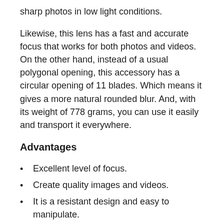sharp photos in low light conditions.
Likewise, this lens has a fast and accurate focus that works for both photos and videos. On the other hand, instead of a usual polygonal opening, this accessory has a circular opening of 11 blades. Which means it gives a more natural rounded blur. And, with its weight of 778 grams, you can use it easily and transport it everywhere.
Advantages
Excellent level of focus.
Create quality images and videos.
It is a resistant design and easy to manipulate.
It allows the entry of a lot of light.